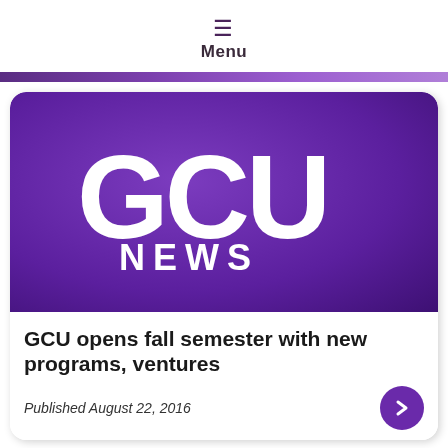≡ Menu
[Figure (logo): GCU News logo on purple background — large white bold 'GCU' text above white bold 'NEWS' text, on a deep purple rounded rectangle card]
GCU opens fall semester with new programs, ventures
Published August 22, 2016